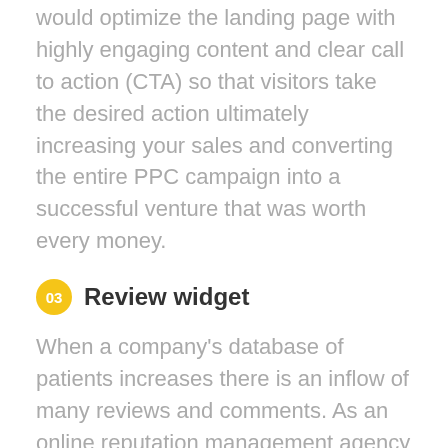would optimize the landing page with highly engaging content and clear call to action (CTA) so that visitors take the desired action ultimately increasing your sales and converting the entire PPC campaign into a successful venture that was worth every money.
03 Review widget
When a company's database of patients increases there is an inflow of many reviews and comments. As an online reputation management agency we provide easy solutions for managing your reviews. With the most relevant results being displayed at the top.
04 PPC management